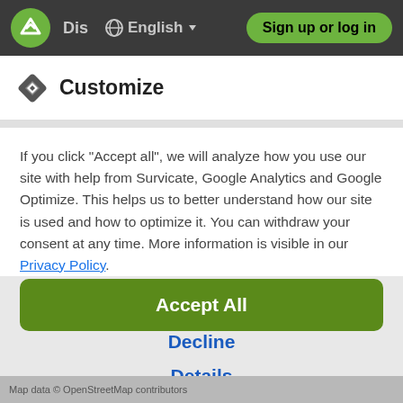[Figure (screenshot): Navigation bar with logo, 'Dis' text, globe icon, English language selector with dropdown arrow, and green 'Sign up or log in' button]
Customize
If you click "Accept all", we will analyze how you use our site with help from Survicate, Google Analytics and Google Optimize. This helps us to better understand how our site is used and how to optimize it. You can withdraw your consent at any time. More information is visible in our Privacy Policy.
Accept All
Decline
Details
Map data © OpenStreetMap contributors